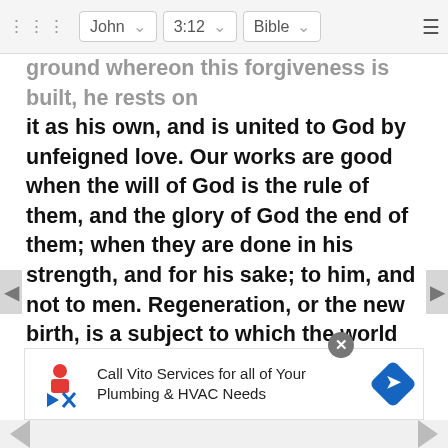John  3:12  Bible
ground whereon this forgiveness is built, he rests on it as his own, and is united to God by unfeigned love. Our works are good when the will of God is the rule of them, and the glory of God the end of them; when they are done in his strength, and for his sake; to him, and not to men. Regeneration, or the new birth, is a subject to which the world is very averse; it is, however, the grand concern, in comparison with which every thing else is but trifling. What does it signify though we have food to eat in plenty, and variety of raiment to put on, if we are not born again? if after a few mornings and evenings spent in unthinking mirth, carnal pleasure, and riot, we die in our sins, and lie down in sorrow? What does it signify though we are well able to set our par in life, in m the S u
[Figure (other): Advertisement banner: Call Vito Services for all of Your Plumbing & HVAC Needs, with logo and blue direction arrow icon]